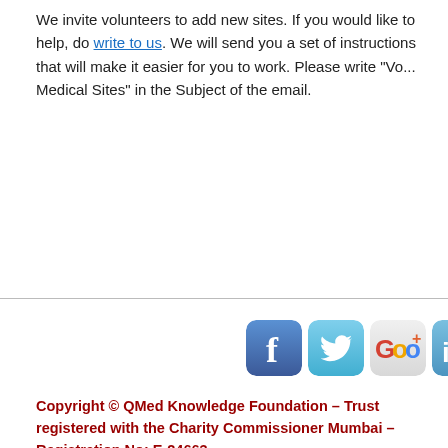We invite volunteers to add new sites. If you would like to help, do write to us. We will send you a set of instructions that will make it easier for you to work. Please write "Volunteer for Medical Sites" in the Subject of the email.
[Figure (other): Social media icons: Facebook, Twitter, Google+, LinkedIn]
Copyright © QMed Knowledge Foundation – Trust registered with the Charity Commissioner Mumbai – Registration No: E-24663